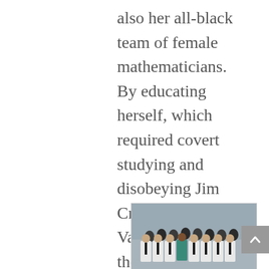also her all-black team of female mathematicians. By educating herself, which required covert studying and disobeying Jim Crow laws, Vaughn becomes the first person to successfully operate the IBM—something that made everyone's work easier, more efficient, and ultimately made the U.S. more competitive.
[Figure (photo): Group photo of many people, mostly men in white shirts and dark ties, with one woman in a teal dress standing in the center, posed in front of a building interior.]